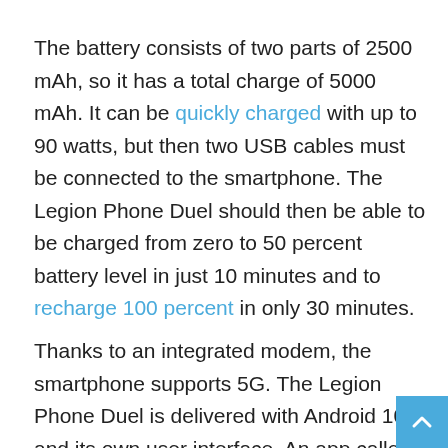The battery consists of two parts of 2500 mAh, so it has a total charge of 5000 mAh. It can be quickly charged with up to 90 watts, but then two USB cables must be connected to the smartphone. The Legion Phone Duel should then be able to be charged from zero to 50 percent battery level in just 10 minutes and to recharge 100 percent in only 30 minutes.
Thanks to an integrated modem, the smartphone supports 5G. The Legion Phone Duel is delivered with Android 10 and its own user interface. An app called Lenovo Legion Realm serves as the gaming